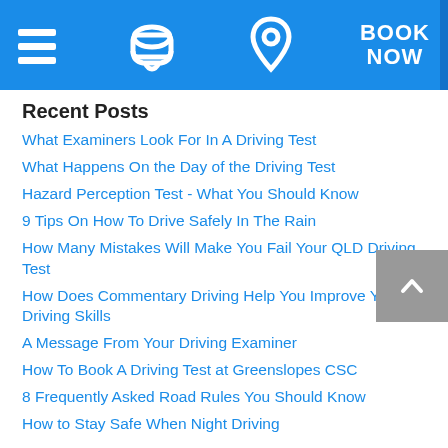Navigation bar with hamburger menu, phone icon, location pin icon, and BOOK NOW button
Recent Posts
What Examiners Look For In A Driving Test
What Happens On the Day of the Driving Test
Hazard Perception Test - What You Should Know
9 Tips On How To Drive Safely In The Rain
How Many Mistakes Will Make You Fail Your QLD Driving Test
How Does Commentary Driving Help You Improve Your Driving Skills
A Message From Your Driving Examiner
How To Book A Driving Test at Greenslopes CSC
8 Frequently Asked Road Rules You Should Know
How to Stay Safe When Night Driving
Categories
Articles
Driving Test Info